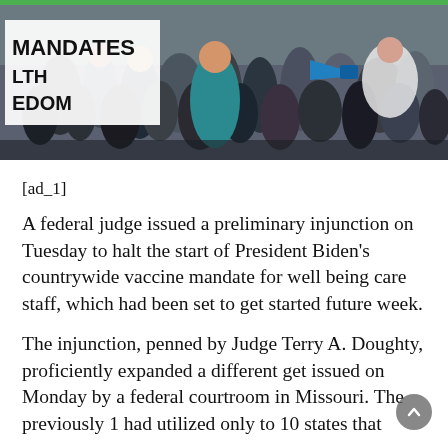[Figure (photo): Crowd of protesters at a rally. A sign in the foreground reads 'MANDATES', 'LTH', 'EDOM' (partially visible Health Freedom sign). A person with a megaphone is visible on the right.]
[ad_1]
A federal judge issued a preliminary injunction on Tuesday to halt the start of President Biden's countrywide vaccine mandate for well being care staff, which had been set to get started future week.
The injunction, penned by Judge Terry A. Doughty, proficiently expanded a different get issued on Monday by a federal courtroom in Missouri. The previously 1 had utilized only to 10 states that